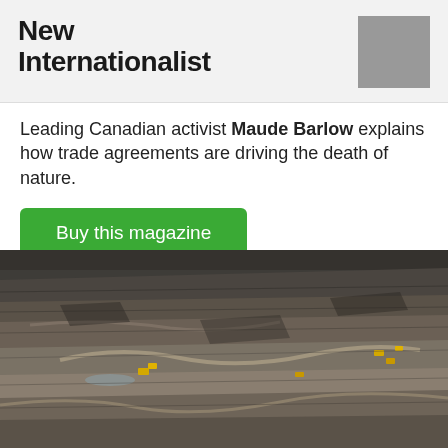New Internationalist
Leading Canadian activist Maude Barlow explains how trade agreements are driving the death of nature.
Buy this magazine
[Figure (photo): Aerial photograph of a large open-pit mine or oil sands operation, showing terraced excavation levels with heavy machinery visible as small yellow dots on the grey-brown landscape]